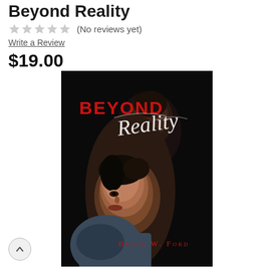Beyond Reality
★★★★★ (No reviews yet)
Write a Review
$19.00
[Figure (photo): Book cover for 'Beyond Reality' by Bruce W. Ford. Dark black background with two people — a man and a woman — in a romantic pose. 'BEYOND' is written in bold red text at top left, 'Reality' in white cursive script overlapping, and 'BRUCE W. FORD' in red small-caps at the bottom right.]